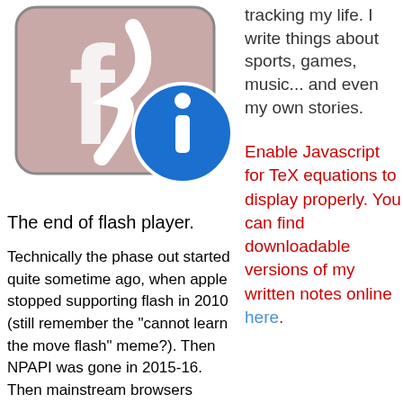[Figure (illustration): Adobe Flash Player icon with blue info circle badge overlaid in the bottom right corner]
tracking my life. I write things about sports, games, music... and even my own stories.
Enable Javascript for TeX equations to display properly. You can find downloadable versions of my written notes online here.
The end of flash player.
Technically the phase out started quite sometime ago, when apple stopped supporting flash in 2010 (still remember the "cannot learn the move flash" meme?). Then NPAPI was gone in 2015-16. Then mainstream browsers started creating difficulty for one using